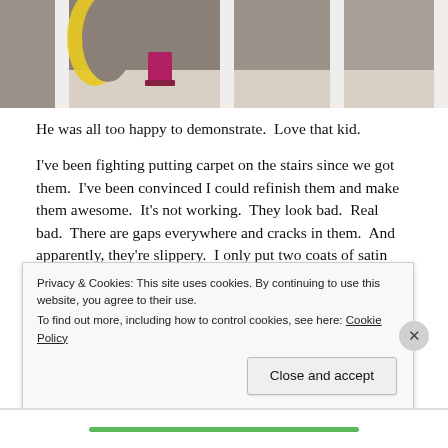[Figure (photo): Photo of white stair railings/balusters with a yellow crescent shape visible on the left and a magenta/pink chair in the background, taken from a low angle showing a light wooden floor]
He was all too happy to demonstrate.  Love that kid.
I've been fighting putting carpet on the stairs since we got them.  I've been convinced I could refinish them and make them awesome.  It's not working.  They look bad.  Real bad.  There are gaps everywhere and cracks in them.  And apparently, they're slippery.  I only put two coats of satin polycrylic on them after I stained them
Privacy & Cookies: This site uses cookies. By continuing to use this website, you agree to their use.
To find out more, including how to control cookies, see here: Cookie Policy
Close and accept